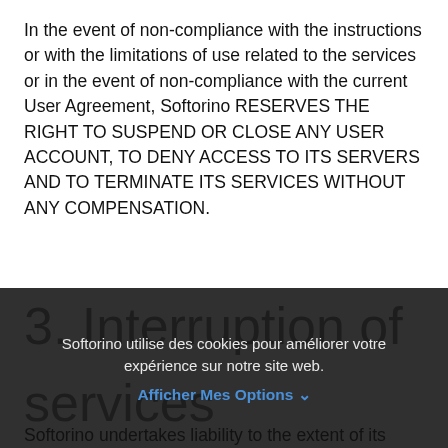In the event of non-compliance with the instructions or with the limitations of use related to the services or in the event of non-compliance with the current User Agreement, Softorino RESERVES THE RIGHT TO SUSPEND OR CLOSE ANY USER ACCOUNT, TO DENY ACCESS TO ITS SERVERS AND TO TERMINATE ITS SERVICES WITHOUT ANY COMPENSATION.
3. Interruption of services
Softorino undertakes liability to the extent of its
Softorino utilise des cookies pour améliorer votre expérience sur notre site web. Afficher Mes Options ∨